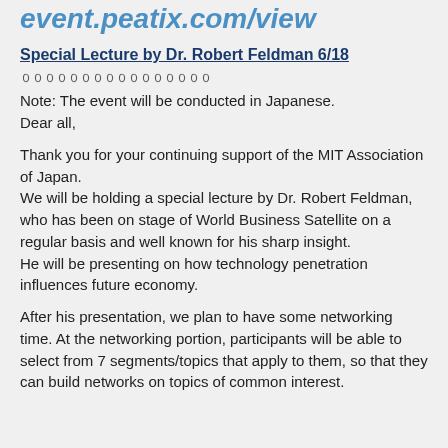event.peatix.com/view
Special Lecture by Dr. Robert Feldman 6/18
００００００００００００００００
Note: The event will be conducted in Japanese.
Dear all,
Thank you for your continuing support of the MIT Association of Japan.
We will be holding a special lecture by Dr. Robert Feldman, who has been on stage of World Business Satellite on a regular basis and well known for his sharp insight.
He will be presenting on how technology penetration influences future economy.
After his presentation, we plan to have some networking time. At the networking portion, participants will be able to select from 7 segments/topics that apply to them, so that they can build networks on topics of common interest.